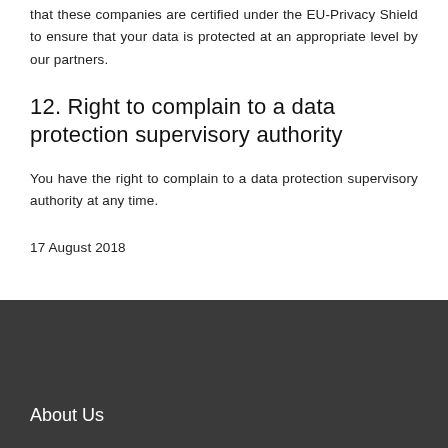that these companies are certified under the EU-Privacy Shield to ensure that your data is protected at an appropriate level by our partners.
12. Right to complain to a data protection supervisory authority
You have the right to complain to a data protection supervisory authority at any time.
17 August 2018
About Us